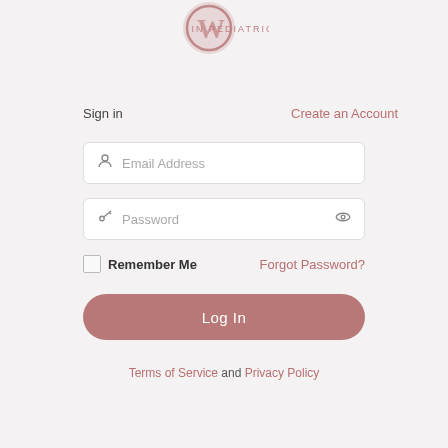[Figure (logo): Circular logo with stylized W mark and text IN PEDIATRICS below]
Sign in
Create an Account
Email Address
Password
Remember Me
Forgot Password?
Log In
Terms of Service and Privacy Policy